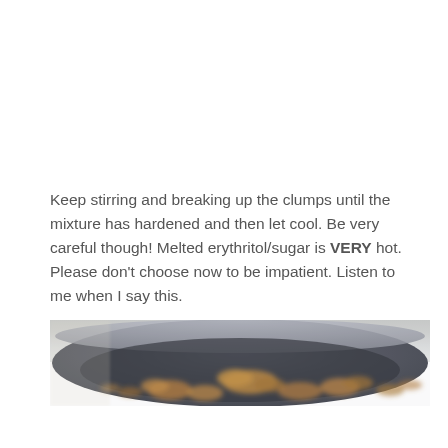Keep stirring and breaking up the clumps until the mixture has hardened and then let cool. Be very careful though! Melted erythritol/sugar is VERY hot. Please don't choose now to be impatient. Listen to me when I say this.
[Figure (photo): A blurry close-up photo of caramelized nuts or clusters being cooked in a dark pan, with the bottom of the image showing an out-of-focus lighter background.]